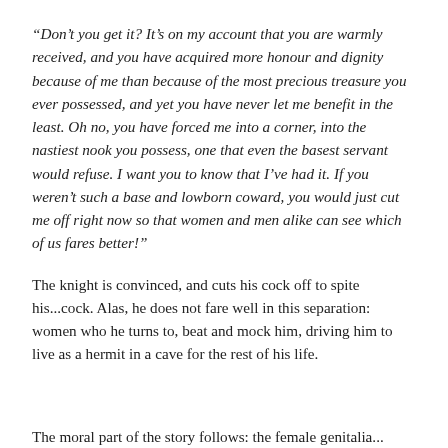“Don’t you get it? It’s on my account that you are warmly received, and you have acquired more honour and dignity because of me than because of the most precious treasure you ever possessed, and yet you have never let me benefit in the least. Oh no, you have forced me into a corner, into the nastiest nook you possess, one that even the basest servant would refuse. I want you to know that I’ve had it. If you weren’t such a base and lowborn coward, you would just cut me off right now so that women and men alike can see which of us fares better!”
The knight is convinced, and cuts his cock off to spite his...cock. Alas, he does not fare well in this separation: women who he turns to, beat and mock him, driving him to live as a hermit in a cave for the rest of his life.
The moral part of the story follows: the female genitalia...